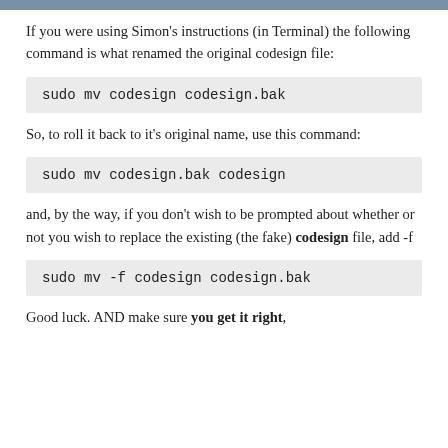If you were using Simon's instructions (in Terminal) the following command is what renamed the original codesign file:
sudo mv codesign codesign.bak
So, to roll it back to it's original name, use this command:
sudo mv codesign.bak codesign
and, by the way, if you don't wish to be prompted about whether or not you wish to replace the existing (the fake) codesign file, add -f
sudo mv -f codesign codesign.bak
Good luck. AND make sure you get it right,